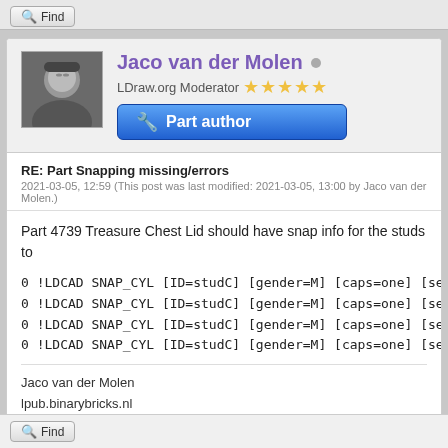Find
Jaco van der Molen
LDraw.org Moderator
Part author
RE: Part Snapping missing/errors
2021-03-05, 12:59 (This post was last modified: 2021-03-05, 13:00 by Jaco van der Molen.)
Part 4739 Treasure Chest Lid should have snap info for the studs to
0 !LDCAD SNAP_CYL [ID=studC] [gender=M] [caps=one] [secs=R
0 !LDCAD SNAP_CYL [ID=studC] [gender=M] [caps=one] [secs=R
0 !LDCAD SNAP_CYL [ID=studC] [gender=M] [caps=one] [secs=R
0 !LDCAD SNAP_CYL [ID=studC] [gender=M] [caps=one] [secs=R
Jaco van der Molen
lpub.binarybricks.nl
Find